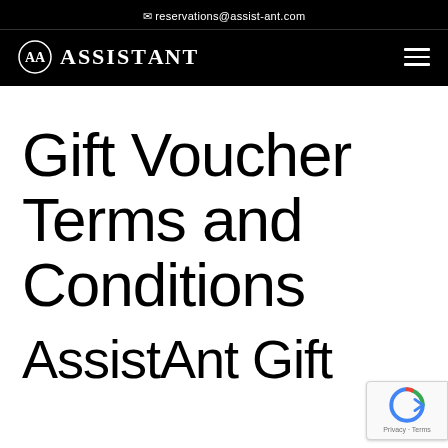reservations@assist-ant.com
[Figure (logo): AssistAnt logo with double-A circular emblem and text 'ASSISTANT' in white on black background, with hamburger menu icon on right]
Gift Voucher Terms and Conditions
AssistAnt Gift Voucher